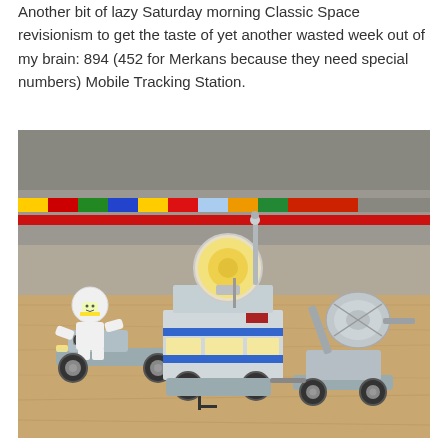Another bit of lazy Saturday morning Classic Space revisionism to get the taste of yet another wasted week out of my brain: 894 (452 for Merkans because they need special numbers) Mobile Tracking Station.
[Figure (photo): A LEGO Classic Space Mobile Tracking Station set (894/452) photographed on a wooden surface. The set includes a white astronaut minifigure driving a small grey rover/buggy, attached to a grey and blue mobile tracking unit with a large yellow transparent circular dish/lens on top and a grey antenna. A separate grey satellite dish trailer is attached to the right. In the background are rows of colorful LEGO baseplates and other LEGO constructions.]